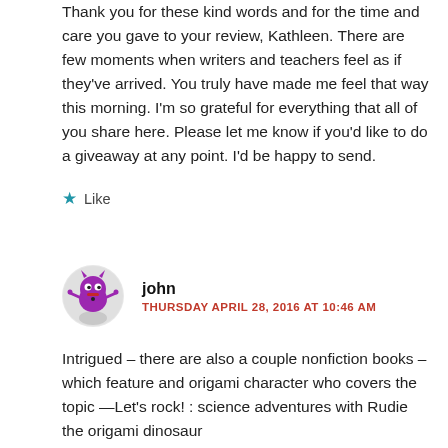Thank you for these kind words and for the time and care you gave to your review, Kathleen. There are few moments when writers and teachers feel as if they've arrived. You truly have made me feel that way this morning. I'm so grateful for everything that all of you share here. Please let me know if you'd like to do a giveaway at any point. I'd be happy to send.
★ Like
john
THURSDAY APRIL 28, 2016 AT 10:46 AM
Intrigued – there are also a couple nonfiction books – which feature and origami character who covers the topic —Let's rock! : science adventures with Rudie the origami dinosaur by Eric Braun and Magnet power! : science adventures with MAG-3000 the origami robot by Thomas Kingsley Troupe

Perhaps your students could write nonfiction with the origami